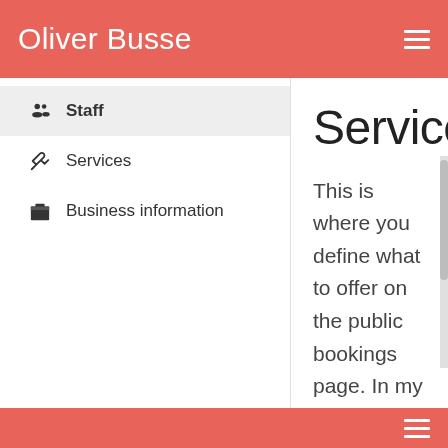Oliver Busse
Staff
Services
Business information
Services
This is where you define what to offer on the public bookings page. In my case I added three services with different lenghts: 30 minutes, 1 hour and 2 hours as these are the regular durations the customers want. Pricing